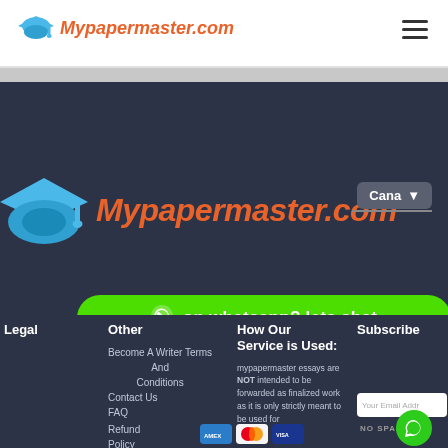[Figure (logo): Mypapermaster.com logo with graduation cap icon in top white navigation bar]
[Figure (logo): Large Mypapermaster.com logo with graduation cap in dark header section]
Cana
on whatsapp? lets chat
Legal
Other
How Our Service is Used:
Subscribe
Become A Writer Terms And Conditions
Contact Us
FAQ
Refund Policy
mypapermaster essays are NOT intended to be forwarded as finalized work as it is only strictly meant to be used for
Your Email Addr
NO SPAM